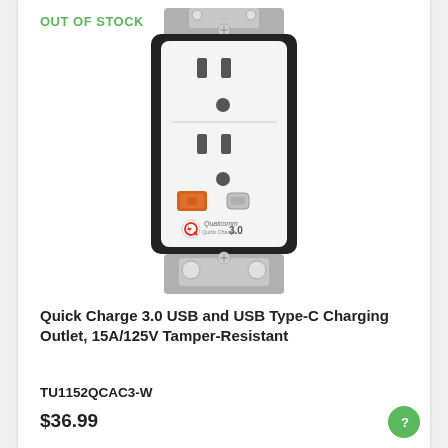OUT OF STOCK
[Figure (photo): White wall outlet with black frame, featuring a standard US duplex outlet at top, a USB Type-A port (orange) and USB Type-C port in the middle, and a Qualcomm Quick Charge 3.0 logo at the bottom. Mounted with metal brackets visible top and bottom.]
Quick Charge 3.0 USB and USB Type-C Charging Outlet, 15A/125V Tamper-Resistant
TU1152QCAC3-W
$36.99